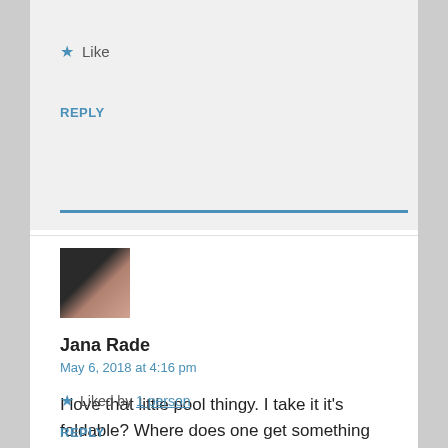★ Like
REPLY
[Figure (photo): Small square avatar photo showing close-up of two people, dark hair visible]
Jana Rade
May 6, 2018 at 4:16 pm
I love that little pool thingy. I take it it's foldable? Where does one get something like that/
★ Liked by 1 person
REPLY